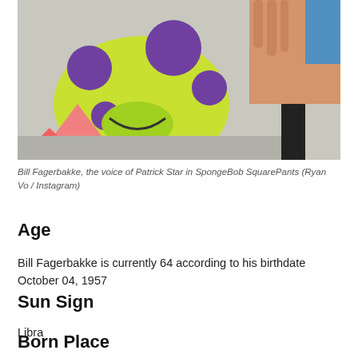[Figure (photo): Photo of Bill Fagerbakke, showing a colorful cartoon character (green and yellow with purple spots) on the floor and a hand in the background, with various colors visible.]
Bill Fagerbakke, the voice of Patrick Star in SpongeBob SquarePants (Ryan Vo / Instagram)
Age
Bill Fagerbakke is currently 64 according to his birthdate October 04, 1957
Sun Sign
Libra
Born Place